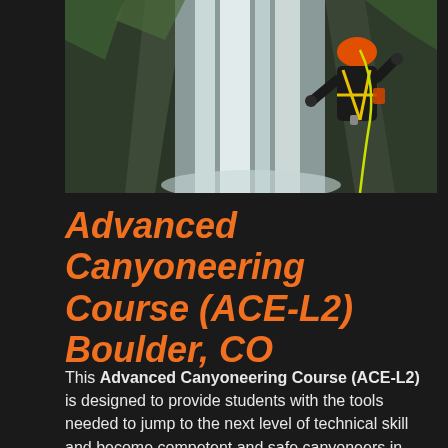[Figure (photo): A canyoneer wearing an orange helmet and black jacket with yellow harness rappelling or standing near a large waterfall cascading down a rocky cliff face with green moss/vegetation visible.]
Advanced Canyoneering Course (ACE-L2) Boulder, CO
This Advanced Canyoneering Course (ACE-L2) is designed to provide students with the tools needed to jump to the next level of technical skill and become competent and safe canyoneers in ALL classes of canyons and touches on techniques and skills for Canyon Essentials (ACE-L2) and Canyon Rescue